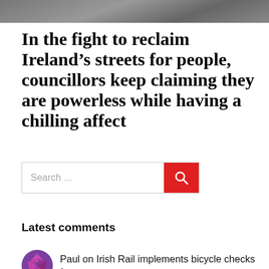[Figure (photo): Partial top image, appears to be a road or street surface, grayscale/muted tones.]
In the fight to reclaim Ireland’s streets for people, councillors keep claiming they are powerless while having a chilling affect
[Figure (other): Search bar with text 'Search ...' and a red button with a magnifying glass icon]
Latest comments
Paul on Irish Rail implements bicycle checks for